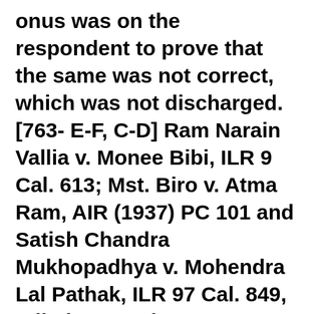onus was on the respondent to prove that the same was not correct, which was not discharged. [763- E-F, C-D] Ram Narain Vallia v. Monee Bibi, ILR 9 Cal. 613; Mst. Biro v. Atma Ram, AIR (1937) PC 101 and Satish Chandra Mukhopadhya v. Mohendra Lal Pathak, ILR 97 Cal. 849, relied on. 4. The statement contained in the admission register of the